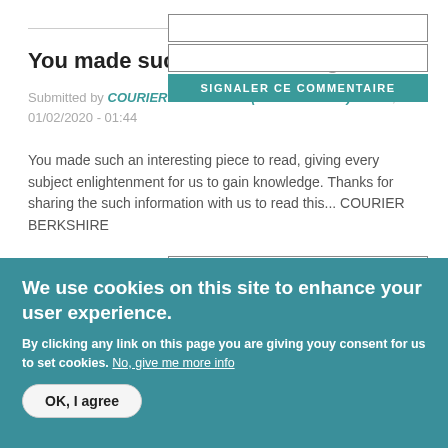You made such an inte...
Submitted by COURIER BERKSHIRE (NOT VERIFIED) on Sat, 01/02/2020 - 01:44
You made such an interesting piece to read, giving every subject enlightenment for us to gain knowledge. Thanks for sharing the such information with us to read this... COURIER BERKSHIRE
Hello I am so delighte...
Submitted by DIAGNOSE MY CAR... (NOT VERIFIED) on Sat,
We use cookies on this site to enhance your user experience. By clicking any link on this page you are giving youy consent for us to set cookies. No, give me more info
OK, I agree